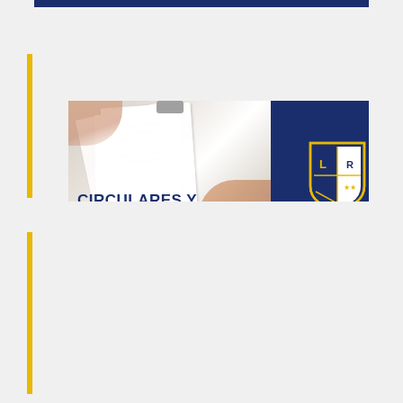[Figure (illustration): Circulares y Documentos banner card with photo of hands holding papers/clipboard on left side and navy blue panel with school crest on right. Text reads CIRCULARES Y DOCUMENTOS and www.liceojuanaross.cl]
[Figure (infographic): Financiamiento Compartido informational card on navy blue background with school crest, text INFORMACIÓN SOBRE FINANCIAMIENTO COMPARTIDO Mensualidad, URL www.liceojuanaross.cl and social media icons for Facebook and Instagram]